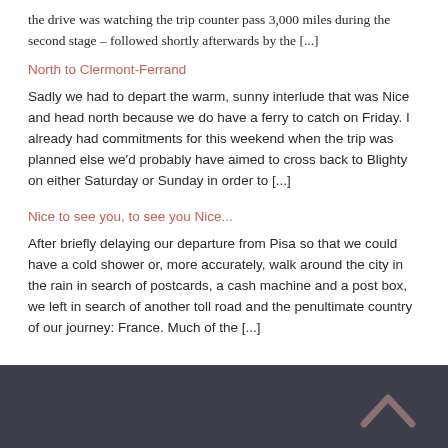the drive was watching the trip counter pass 3,000 miles during the second stage – followed shortly afterwards by the [...]
North to Clermont-Ferrand
Sadly we had to depart the warm, sunny interlude that was Nice and head north because we do have a ferry to catch on Friday. I already had commitments for this weekend when the trip was planned else we'd probably have aimed to cross back to Blighty on either Saturday or Sunday in order to [...]
Nice to see you, to see you Nice...
After briefly delaying our departure from Pisa so that we could have a cold shower or, more accurately, walk around the city in the rain in search of postcards, a cash machine and a post box, we left in search of another toll road and the penultimate country of our journey: France. Much of the [...]